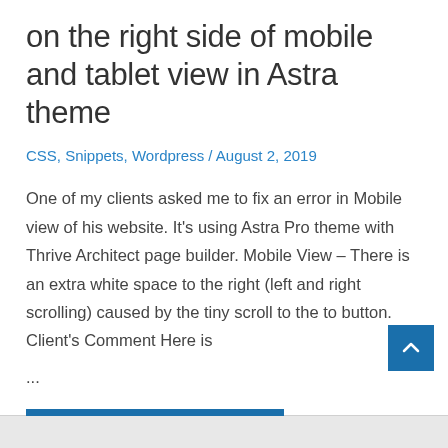on the right side of mobile and tablet view in Astra theme
CSS, Snippets, Wordpress / August 2, 2019
One of my clients asked me to fix an error in Mobile view of his website. It's using Astra Pro theme with Thrive Architect page builder. Mobile View – There is an extra white space to the right (left and right scrolling) caused by the tiny scroll to the to button. Client's Comment Here is ...
Read More »